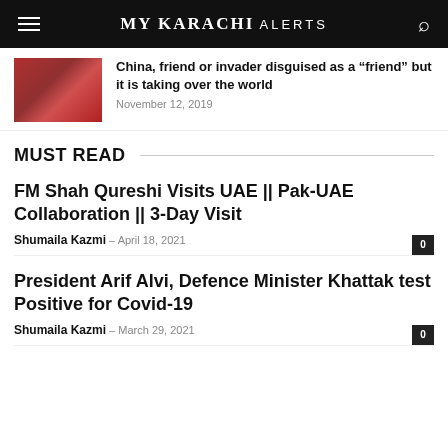MY KARACHI ALERTS
China, friend or invader disguised as a “friend” but it is taking over the world — November 12, 2019
MUST READ
FM Shah Qureshi Visits UAE || Pak-UAE Collaboration || 3-Day Visit
Shumaila Kazmi — April 18, 2021
President Arif Alvi, Defence Minister Khattak test Positive for Covid-19
Shumaila Kazmi — March 29, 2021